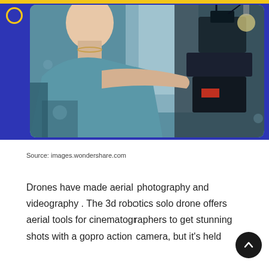[Figure (photo): A person operating a professional camera rig or gimbal stabilizer in what appears to be an indoor cafe or restaurant setting. The person is viewed from the side/back.]
Source: images.wondershare.com
Drones have made aerial photography and videography . The 3d robotics solo drone offers aerial tools for cinematographers to get stunning shots with a gopro action camera, but it's held